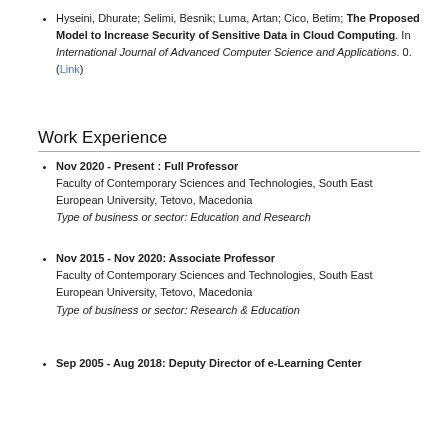Hyseini, Dhurate; Selimi, Besnik; Luma, Artan; Cico, Betim; The Proposed Model to Increase Security of Sensitive Data in Cloud Computing. In International Journal of Advanced Computer Science and Applications. 0. (Link)
Work Experience
Nov 2020 - Present : Full Professor
Faculty of Contemporary Sciences and Technologies, South East European University, Tetovo, Macedonia
Type of business or sector: Education and Research
Nov 2015 - Nov 2020: Associate Professor
Faculty of Contemporary Sciences and Technologies, South East European University, Tetovo, Macedonia
Type of business or sector: Research & Education
Sep 2005 - Aug 2018: Deputy Director of e-Learning Center